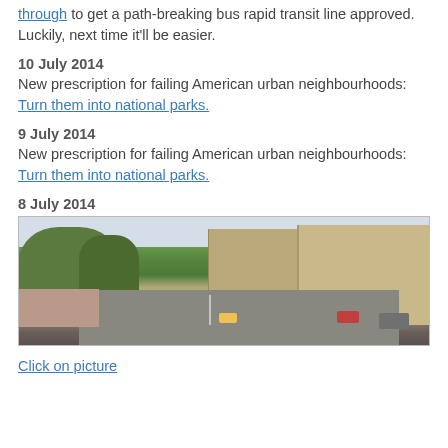through to get a path-breaking bus rapid transit line approved. Luckily, next time it'll be easier.
10 July 2014
New prescription for failing American urban neighbourhoods: Turn them into national parks.
9 July 2014
New prescription for failing American urban neighbourhoods: Turn them into national parks.
8 July 2014
[Figure (photo): Street-level view of a wide urban avenue with large trees on the left, tall buildings on the right, pedestrians on the sidewalk, and taxis/cars in the road.]
Click on picture